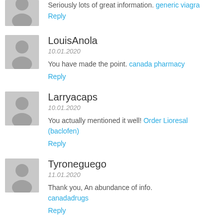Seriously lots of great information. generic viagra
Reply
LouisAnola
10.01.2020
You have made the point. canada pharmacy
Reply
Larryacaps
10.01.2020
You actually mentioned it well! Order Lioresal (baclofen)
Reply
Tyroneguego
11.01.2020
Thank you, An abundance of info. canadadrugs
Reply